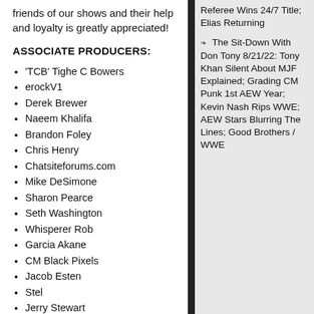friends of our shows and their help and loyalty is greatly appreciated!
ASSOCIATE PRODUCERS:
'TCB' Tighe C Bowers
erockV1
Derek Brewer
Naeem Khalifa
Brandon Foley
Chris Henry
Chatsiteforums.com
Mike DeSimone
Sharon Pearce
Seth Washington
Whisperer Rob
Garcia Akane
CM Black Pixels
Jacob Esten
Stel
Jerry Stewart
Johnny Morin
Michael Westphal
John Krauser
Referee Wins 24/7 Title; Elias Returning
The Sit-Down With Don Tony 8/21/22: Tony Khan Silent About MJF Explained; Grading CM Punk 1st AEW Year; Kevin Nash Rips WWE; AEW Stars Blurring The Lines; Good Brothers / WWE